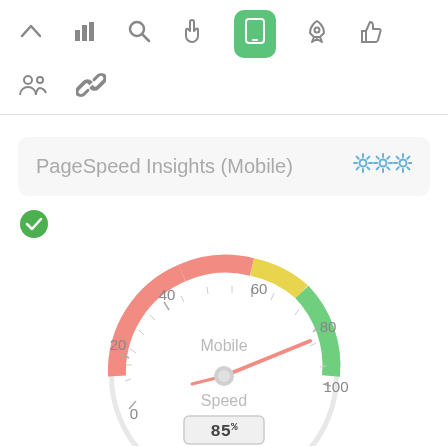[Figure (screenshot): Toolbar row with navigation icons: chevron up, bar chart, search, hand pointer, mobile (active/green), rocket, thumbs up]
[Figure (screenshot): Second toolbar row with people group icon and link/chain icon]
PageSpeed Insights (Mobile)
[Figure (other): Green checkmark circle icon]
[Figure (other): Speedometer/gauge showing Mobile Speed score of 85%. The gauge has colored arcs: red (0-49), yellow (50-69), green (70-100). The needle points to approximately 85. Labels: 0, 20, 40, 60, 80, 100. Center text: Mobile / Speed. Digital display at bottom: 85%]